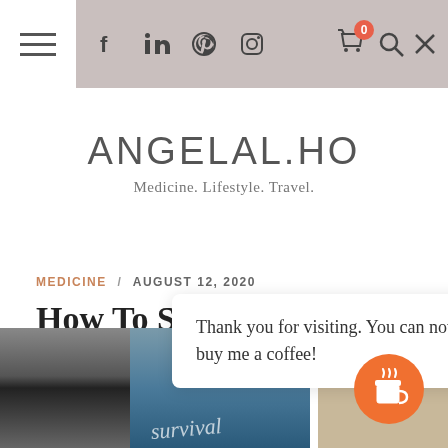ANGELAL.HO — navigation bar with menu, social icons (Facebook, LinkedIn, Pinterest, Instagram), cart, search
ANGELAL.HO
Medicine. Lifestyle. Travel.
MEDICINE / AUGUST 12, 2020
How To Survive Online Medical School
Thank you for visiting. You can now buy me a coffee!
[Figure (photo): Partial view of a coastal or ocean scene below the article title, cropped at the bottom of the page]